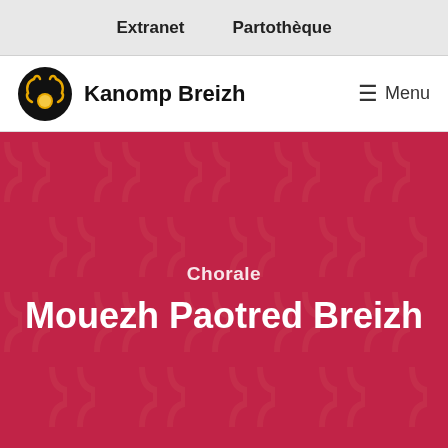Extranet   Partothèque
[Figure (logo): Kanomp Breizh logo: black circle with stylized figure and yellow/orange circle, followed by bold text 'Kanomp Breizh']
≡ Menu
[Figure (illustration): Dark red/crimson hero banner with repeating semi-transparent stylized letter/bracket pattern in lighter pink]
Chorale
Mouezh Paotred Breizh